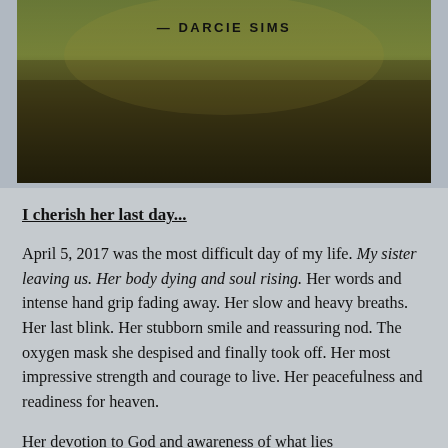[Figure (photo): Outdoor nature photo showing golden-green grass or wheat field with a dark, moody overlay. Text attribution reads '— DARCIE SIMS' centered over the image.]
I cherish her last day...
April 5, 2017 was the most difficult day of my life. My sister leaving us. Her body dying and soul rising. Her words and intense hand grip fading away. Her slow and heavy breaths. Her last blink. Her stubborn smile and reassuring nod. The oxygen mask she despised and finally took off. Her most impressive strength and courage to live. Her peacefulness and readiness for heaven.
Her devotion to God and awareness of what lies